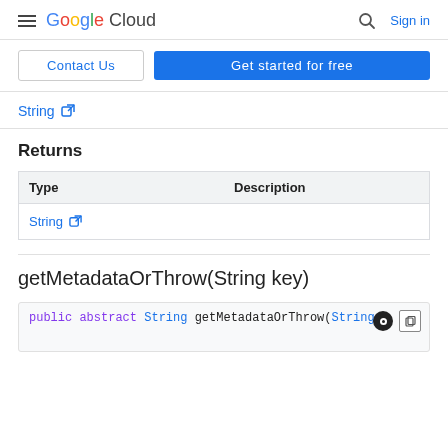Google Cloud  Sign in
Contact Us  Get started for free
String [external link]
Returns
| Type | Description |
| --- | --- |
| String [external link] |  |
getMetadataOrThrow(String key)
public abstract String getMetadataOrThrow(String